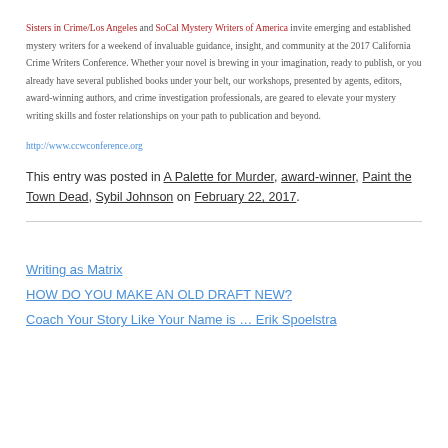Sisters in Crime/Los Angeles and SoCal Mystery Writers of America invite emerging and established mystery writers for a weekend of invaluable guidance, insight, and community at the 2017 California Crime Writers Conference. Whether your novel is brewing in your imagination, ready to publish, or you already have several published books under your belt, our workshops, presented by agents, editors, award-winning authors, and crime investigation professionals, are geared to elevate your mystery writing skills and foster relationships on your path to publication and beyond.
http://www.ccwconference.org
This entry was posted in A Palette for Murder, award-winner, Paint the Town Dead, Sybil Johnson on February 22, 2017.
Writing as Matrix
HOW DO YOU MAKE AN OLD DRAFT NEW?
Coach Your Story Like Your Name is … Erik Spoelstra